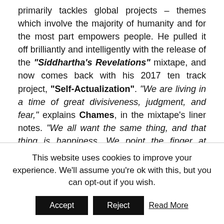primarily tackles global projects – themes which involve the majority of humanity and for the most part empowers people. He pulled it off brilliantly and intelligently with the release of the "Siddhartha's Revelations" mixtape, and now comes back with his 2017 ten track project, "Self-Actualization". "We are living in a time of great divisiveness, judgment, and fear," explains Chames, in the mixtape's liner notes. "We all want the same thing, and that thing is happiness. We point the finger at things in our external environment, and believe that we'll be happy once everything changes according to our
This website uses cookies to improve your experience. We'll assume you're ok with this, but you can opt-out if you wish.